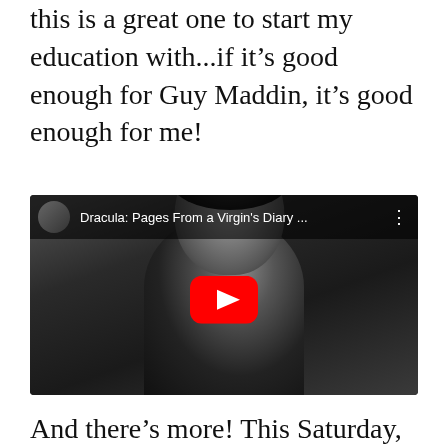this is a great one to start my education with...if it's good enough for Guy Maddin, it's good enough for me!
[Figure (screenshot): YouTube video embed showing 'Dracula: Pages From a Virgin's Diary ...' with a black and white still of a curly-haired man in Victorian attire looking upward, with a red YouTube play button overlay and video title bar at the top.]
And there's more! This Saturday, before Dracula, I'll be attending one in a series of workshops